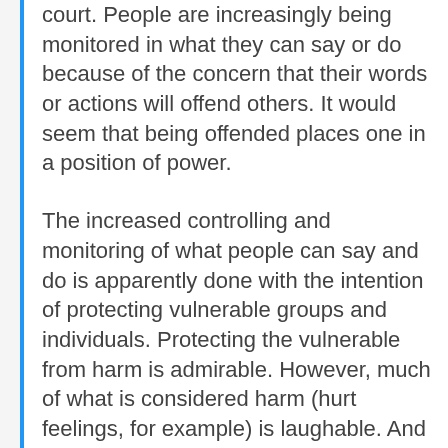court. People are increasingly being monitored in what they can say or do because of the concern that their words or actions will offend others. It would seem that being offended places one in a position of power.
The increased controlling and monitoring of what people can say and do is apparently done with the intention of protecting vulnerable groups and individuals. Protecting the vulnerable from harm is admirable. However, much of what is considered harm (hurt feelings, for example) is laughable. And for those incidents where an element of racism is concerned, there are better ways of